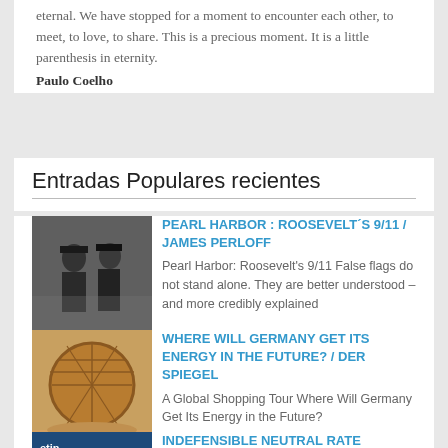eternal. We have stopped for a moment to encounter each other, to meet, to love, to share. This is a precious moment. It is a little parenthesis in eternity.
Paulo Coelho
Entradas Populares recientes
[Figure (photo): Black and white historical photo of two military figures]
PEARL HARBOR : ROOSEVELT´S 9/11 / JAMES PERLOFF
Pearl Harbor: Roosevelt's 9/11 False flags do not stand alone. They are better understood – and more credibly explained to skeptics – when...
[Figure (photo): Photo of a round dome-shaped wooden structure under construction]
WHERE WILL GERMANY GET ITS ENERGY IN THE FUTURE? / DER SPIEGEL
A Global Shopping Tour Where Will Germany Get Its Energy in the Future? Germany must not only free itself from Russian gas, but from fossil ...
[Figure (photo): Blue cover of Credit Bubble Bulletin publication]
INDEFENSIBLE NEUTRAL RATE DOCTRINE / CREDIT BUBBLE BULLETIN
Indefensible Neutral Rate Doctrine Doug